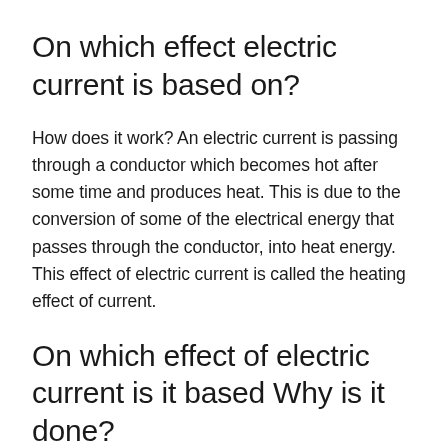On which effect electric current is based on?
How does it work? An electric current is passing through a conductor which becomes hot after some time and produces heat. This is due to the conversion of some of the electrical energy that passes through the conductor, into heat energy. This effect of electric current is called the heating effect of current.
On which effect of electric current is it based Why is it done?